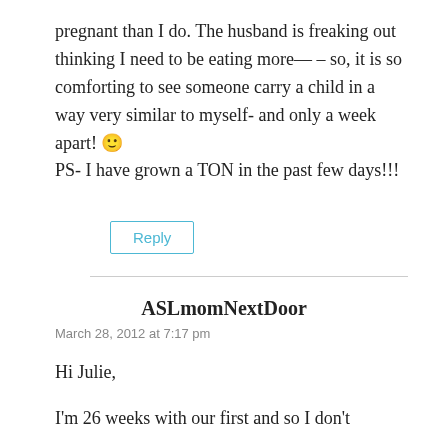pregnant than I do. The husband is freaking out thinking I need to be eating more— – so, it is so comforting to see someone carry a child in a way very similar to myself- and only a week apart! 🙂
PS- I have grown a TON in the past few days!!!
Reply
ASLmomNextDoor
March 28, 2012 at 7:17 pm
Hi Julie,
I'm 26 weeks with our first and so I don't